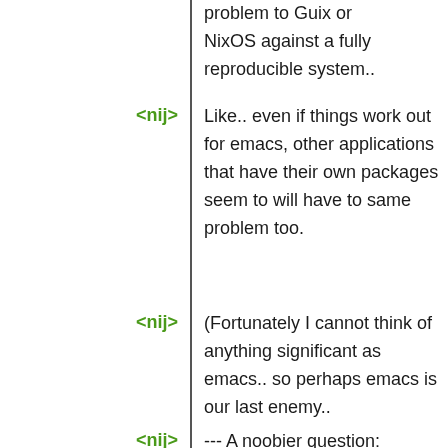problem to Guix or NixOS against a fully reproducible system..
<nij> Like.. even if things work out for emacs, other applications that have their own packages seem to will have to same problem too.
<nij> (Fortunately I cannot think of anything significant as emacs.. so perhaps emacs is our last enemy..
<nij> --- A noobier question: